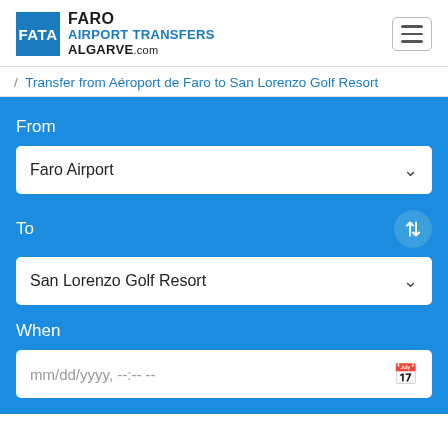FATA FARO AIRPORT TRANSFERS ALGARVE.com
/ Transfer from Aéroport de Faro to San Lorenzo Golf Resort
[Figure (screenshot): Airport transfer booking form with blue background. Fields: From (Faro Airport dropdown), To (San Lorenzo Golf Resort dropdown), When (mm/dd/yyyy, --:-- -- date input).]